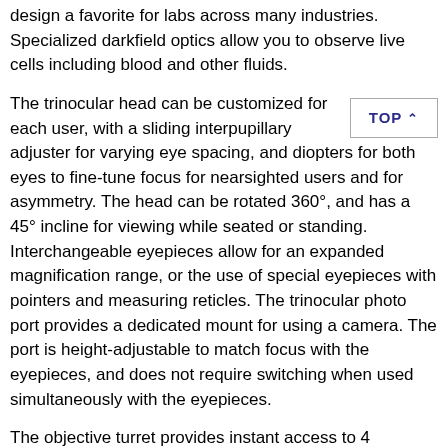design a favorite for labs across many industries. Specialized darkfield optics allow you to observe live cells including blood and other fluids.
The trinocular head can be customized for each user, with a sliding interpupillary adjuster for varying eye spacing, and diopters for both eyes to fine-tune focus for nearsighted users and for asymmetry. The head can be rotated 360°, and has a 45° incline for viewing while seated or standing. Interchangeable eyepieces allow for an expanded magnification range, or the use of special eyepieces with pointers and measuring reticles. The trinocular photo port provides a dedicated mount for using a camera. The port is height-adjustable to match focus with the eyepieces, and does not require switching when used simultaneously with the eyepieces.
The objective turret provides instant access to 4 magnification levels to easily focus in on minute details from 40X to 1000X. This covers magnifications needed for